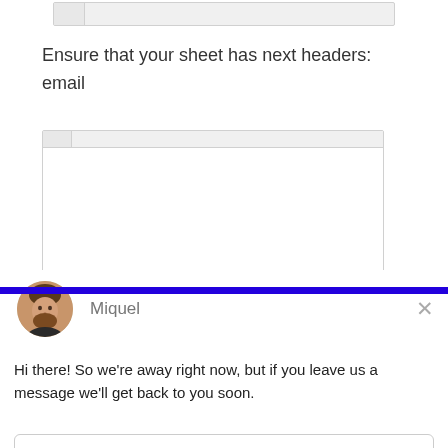[Figure (screenshot): Top portion of a spreadsheet UI showing column headers and cells in gray]
Ensure that your sheet has next headers:
email
[Figure (screenshot): Spreadsheet area with header row and empty cells]
[Figure (screenshot): Drift chat widget overlay with avatar of Miquel, message 'Hi there! So we're away right now, but if you leave us a message we'll get back to you soon.', a reply input box labeled 'Reply to Miquel', and footer 'Chat by Drift']